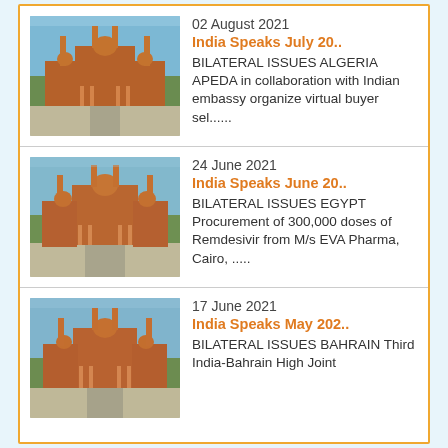02 August 2021 | India Speaks July 20.. | BILATERAL ISSUES ALGERIA APEDA in collaboration with Indian embassy organize virtual buyer sel......
24 June 2021 | India Speaks June 20.. | BILATERAL ISSUES EGYPT Procurement of 300,000 doses of Remdesivir from M/s EVA Pharma, Cairo, .....
17 June 2021 | India Speaks May 202.. | BILATERAL ISSUES BAHRAIN Third India-Bahrain High Joint